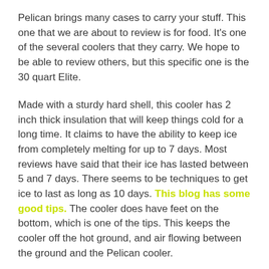Pelican brings many cases to carry your stuff. This one that we are about to review is for food. It's one of the several coolers that they carry. We hope to be able to review others, but this specific one is the 30 quart Elite.
Made with a sturdy hard shell, this cooler has 2 inch thick insulation that will keep things cold for a long time. It claims to have the ability to keep ice from completely melting for up to 7 days. Most reviews have said that their ice has lasted between 5 and 7 days. There seems to be techniques to get ice to last as long as 10 days. This blog has some good tips. The cooler does have feet on the bottom, which is one of the tips. This keeps the cooler off the hot ground, and air flowing between the ground and the Pelican cooler.